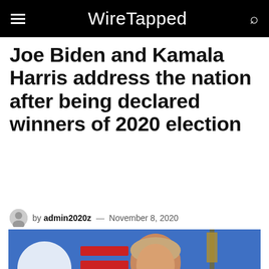WireTapped
Joe Biden and Kamala Harris address the nation after being declared winners of 2020 election
by admin2020z — November 8, 2020
[Figure (photo): Photo of Joe Biden at a podium in front of a blue background with red campaign signage]